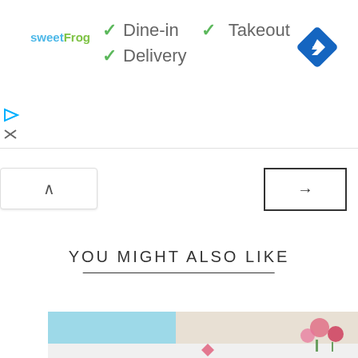[Figure (logo): sweetFrog logo in teal and green text]
✓ Dine-in  ✓ Takeout
✓ Delivery
[Figure (illustration): Blue diamond navigation icon with right-turn arrow]
[Figure (illustration): Play triangle icon in blue and X close icon]
[Figure (illustration): Collapse/up caret button]
[Figure (illustration): Right arrow button]
YOU MIGHT ALSO LIKE
[Figure (photo): Photo of a light blue layered cake with pink flowers]